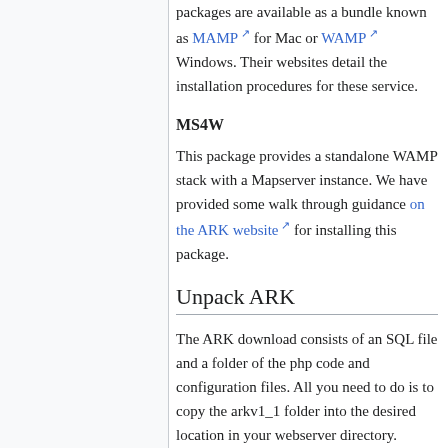packages are available as a bundle known as MAMP for Mac or WAMP Windows. Their websites detail the installation procedures for these service.
MS4W
This package provides a standalone WAMP stack with a Mapserver instance. We have provided some walk through guidance on the ARK website for installing this package.
Unpack ARK
The ARK download consists of an SQL file and a folder of the php code and configuration files. All you need to do is to copy the arkv1_1 folder into the desired location in your webserver directory. Consult the documentation of